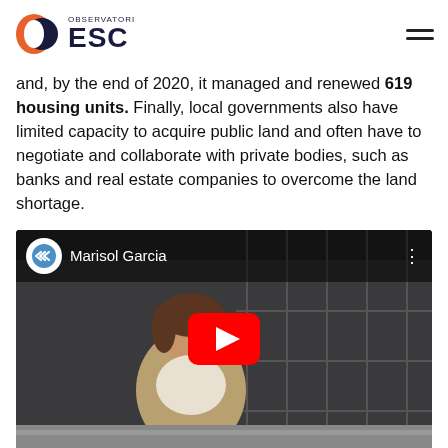OBSERVATORI OESC
and, by the end of 2020, it managed and renewed 619 housing units. Finally, local governments also have limited capacity to acquire public land and often have to negotiate and collaborate with private bodies, such as banks and real estate companies to overcome the land shortage.
[Figure (screenshot): YouTube video thumbnail showing Marisol Garcia, a woman with short brown hair speaking, with a YouTube play button overlay and channel logo at top left.]